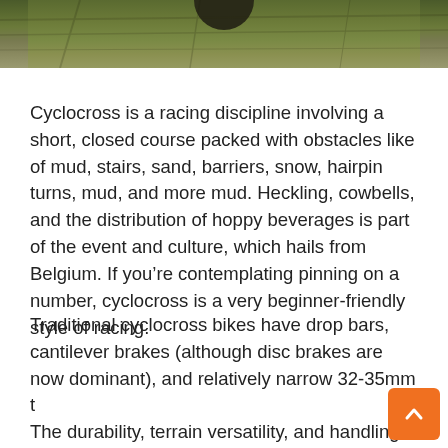[Figure (photo): Outdoor nature/terrain photo showing mossy or grassy ground, partial view of a cyclocross scene]
Cyclocross is a racing discipline involving a short, closed course packed with obstacles like of mud, stairs, sand, barriers, snow, hairpin turns, mud, and more mud. Heckling, cowbells, and the distribution of hoppy beverages is part of the event and culture, which hails from Belgium. If you’re contemplating pinning on a number, cyclocross is a very beginner-friendly style of racing.
Traditional cyclocross bikes have drop bars, cantilever brakes (although disc brakes are now dominant), and relatively narrow 32-35mm t The durability, terrain versatility, and handling characteristics of cyclocross bikes have attracted